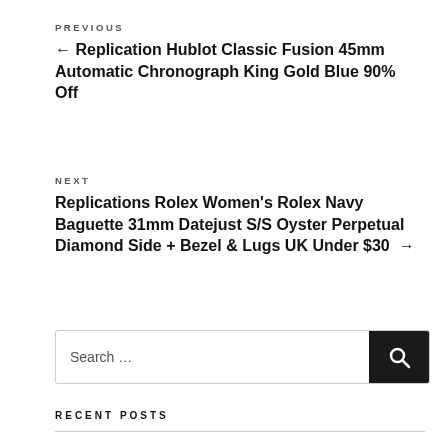PREVIOUS
← Replication Hublot Classic Fusion 45mm Automatic Chronograph King Gold Blue 90% Off
NEXT
Replications Rolex Women's Rolex Navy Baguette 31mm Datejust S/S Oyster Perpetual Diamond Side + Bezel & Lugs UK Under $30 →
Search …
RECENT POSTS